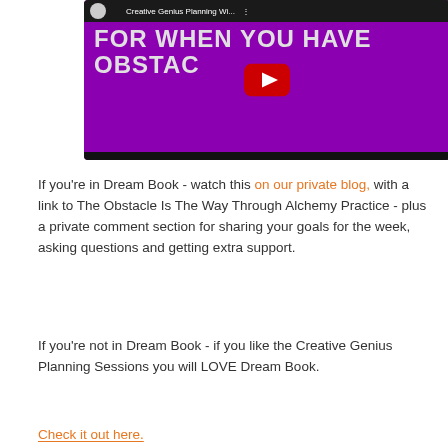[Figure (screenshot): YouTube video thumbnail with purple background showing text 'FOR WHEN YOU HAVE OBSTAC...' with a YouTube play button overlay and dark top bar reading 'Creative Genius Planning Wi...']
If you're in Dream Book - watch this on our private blog, with a link to The Obstacle Is The Way Through Alchemy Practice - plus a private comment section for sharing your goals for the week, asking questions and getting extra support.
If you're not in Dream Book - if you like the Creative Genius Planning Sessions you will LOVE Dream Book.
Check it out here.